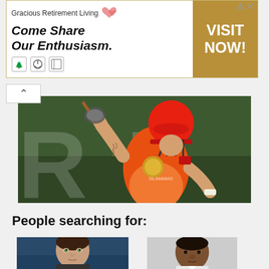[Figure (photo): Advertisement banner for Gracious Retirement Living with tagline 'Come Share Our Enthusiasm' and gold 'VISIT NOW!' button on the right]
[Figure (photo): Cricket player in orange and red Islamabad United uniform raising bat, wearing red helmet with face guard, tattoos visible on arms]
People searching for:
[Figure (photo): Headshot of a man with short dark hair looking forward, appears to be a cricket-related personality]
[Figure (photo): Headshot of a dark-skinned man with short hair, appears to be a cricket-related personality]